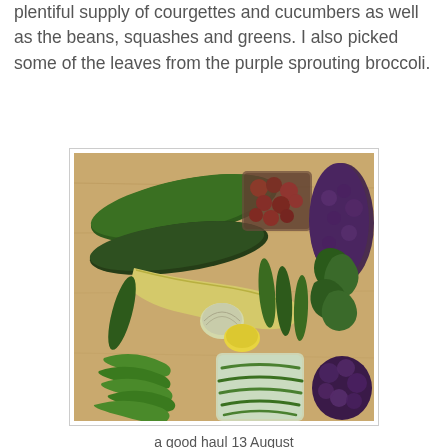plentiful supply of courgettes and cucumbers as well as the beans, squashes and greens. I also picked some of the leaves from the purple sprouting broccoli.
[Figure (photo): A wooden chopping board or table displaying a variety of harvested vegetables including courgettes, cucumbers, a yellow squash, small decorative squashes, green beans, leafy greens, purple sprouting broccoli leaves, and a punnet of small red/purple tomatoes.]
a good haul 13 August